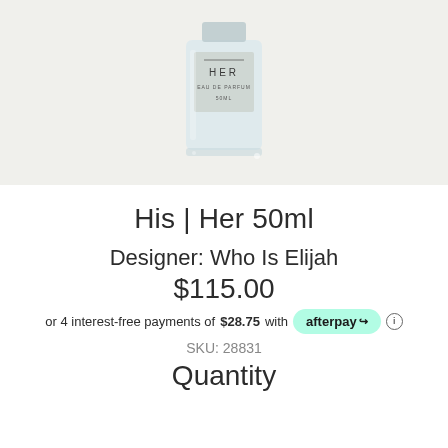[Figure (photo): Perfume bottle with label reading HER EAU DE PARFUM 50ML, shown from front, glass bottle with silver cap, on light grey background]
His | Her 50ml
Designer: Who Is Elijah
$115.00
or 4 interest-free payments of $28.75 with afterpay
SKU: 28831
Quantity